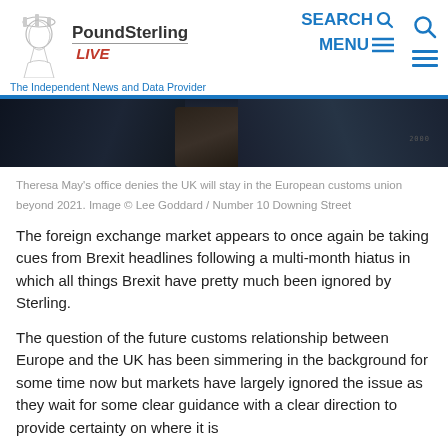PoundSterling LIVE — The Independent News and Data Provider | SEARCH | MENU
[Figure (photo): Partial view of police officers in dark uniforms, cropped photo associated with Theresa May customs union story]
Theresa May's office denies the UK will stay in the European customs union beyond 2021. Image © Lee Goddard / Number 10 Downing Street
The foreign exchange market appears to once again be taking cues from Brexit headlines following a multi-month hiatus in which all things Brexit have pretty much been ignored by Sterling.
The question of the future customs relationship between Europe and the UK has been simmering in the background for some time now but markets have largely ignored the issue as they wait for some clear guidance with a clear direction to provide certainty on where it is...